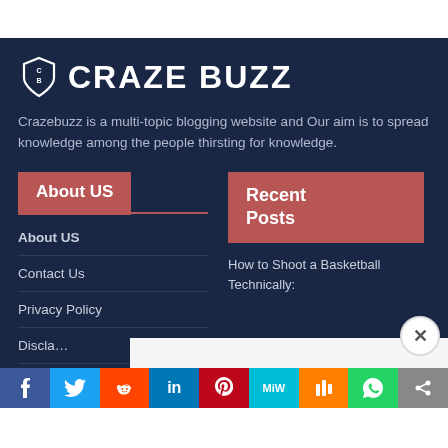[Figure (logo): Craze Buzz logo with shield icon containing CB letters and CRAZE BUZZ text]
Crazebuzz is a multi-topic blogging website and Our aim is to spread knowledge among the people thirsting for knowledge.
About US
Recent Posts
About US
Contact Us
Privacy Policy
Discla…
How to Shoot a Basketball Technically: